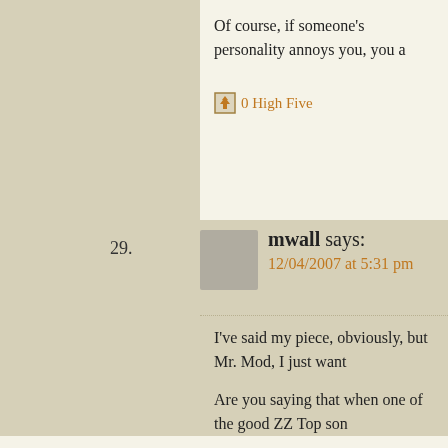Of course, if someone's personality annoys you, you a
0 High Five
mwall says: 12/04/2007 at 5:31 pm
I've said my piece, obviously, but Mr. Mod, I just want
Are you saying that when one of the good ZZ Top son on the radio, you change the station? Because for me
0 High Five
BigSteve says: 12/04/2007 at 5:35 pm
Of course we're snobs. But is getting down with the w to demonstrate solidarity with our disadvantaged blac